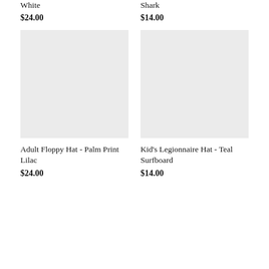White
$24.00
Shark
$14.00
[Figure (photo): Product image placeholder - light gray square for Adult Floppy Hat - Palm Print Lilac]
Adult Floppy Hat - Palm Print Lilac
$24.00
[Figure (photo): Product image placeholder - light gray square for Kid's Legionnaire Hat - Teal Surfboard]
Kid's Legionnaire Hat - Teal Surfboard
$14.00